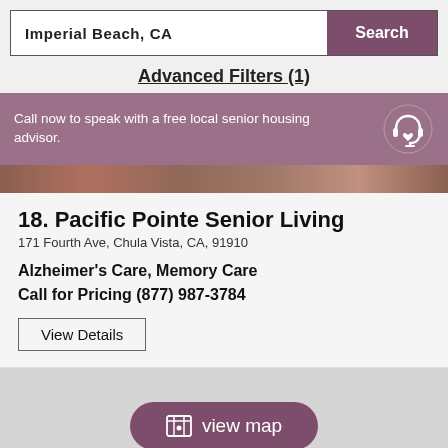Imperial Beach, CA
Search
Advanced Filters (1)
Call now to speak with a free local senior housing advisor.
18. Pacific Pointe Senior Living
171 Fourth Ave, Chula Vista, CA, 91910
Alzheimer's Care, Memory Care
Call for Pricing (877) 987-3784
View Details
view map